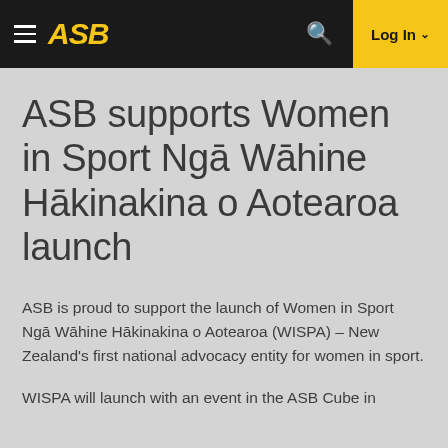ASB — Log In
ASB supports Women in Sport Ngā Wāhine Hākinakina o Aotearoa launch
ASB is proud to support the launch of Women in Sport Ngā Wāhine Hākinakina o Aotearoa (WISPA) – New Zealand's first national advocacy entity for women in sport.
WISPA will launch with an event in the ASB Cube in